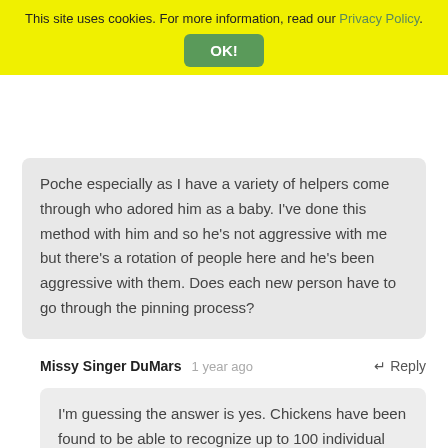This site uses cookies. For more information, read our Privacy Policy. OK!
Poche especially as I have a variety of helpers come through who adored him as a baby. I've done this method with him and so he's not aggressive with me but there's a rotation of people here and he's been aggressive with them. Does each new person have to go through the pinning process?
Missy Singer DuMars  1 year ago  ↵ Reply
I'm guessing the answer is yes. Chickens have been found to be able to recognize up to 100 individual faces, and ducks are smarter than chickens, so your drake can definitely tell who is intimidated by him and who isn't.